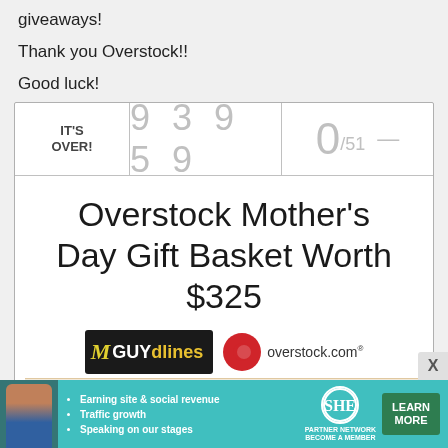giveaways!
Thank you Overstock!!
Good luck!
[Figure (other): Giveaway widget showing IT'S OVER! with number 93959 and score 0/51, followed by Overstock Mother's Day Gift Basket Worth $325 title and logos]
[Figure (infographic): SHE Partner Network advertisement banner with photo, bullets: Earning site & social revenue, Traffic growth, Speaking on our stages, SHE logo, LEARN MORE button]